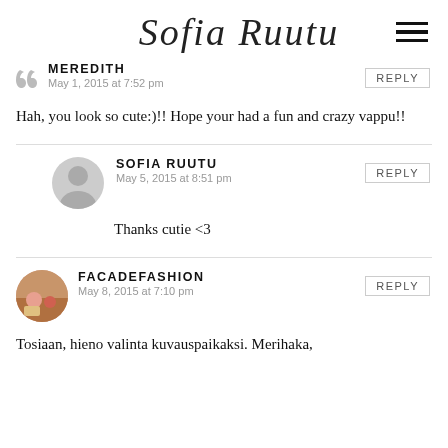Sofia Ruutu
MEREDITH
May 1, 2015 at 7:52 pm
Hah, you look so cute:)!! Hope your had a fun and crazy vappu!!
SOFIA RUUTU
May 5, 2015 at 8:51 pm
Thanks cutie <3
FACADEFASHION
May 8, 2015 at 7:10 pm
Tosiaan, hieno valinta kuvauspaikaksi. Merihaka,